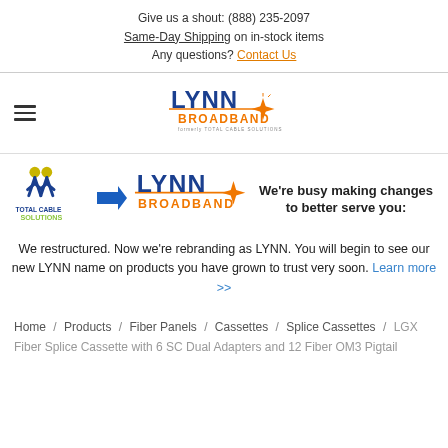Give us a shout: (888) 235-2097
Same-Day Shipping on in-stock items
Any questions? Contact Us
[Figure (logo): Lynn Broadband logo with orange star/spark and blue LYNN text, 'formerly TOTAL CABLE SOLUTIONS' tagline]
[Figure (infographic): Total Cable Solutions logo with arrow pointing to Lynn Broadband logo, rebranding announcement. Text: We're busy making changes to better serve you: We restructured. Now we're rebranding as LYNN. You will begin to see our new LYNN name on products you have grown to trust very soon. Learn more >>]
Home / Products / Fiber Panels / Cassettes / Splice Cassettes / LGX Fiber Splice Cassette with 6 SC Dual Adapters and 12 Fiber OM3 Pigtail